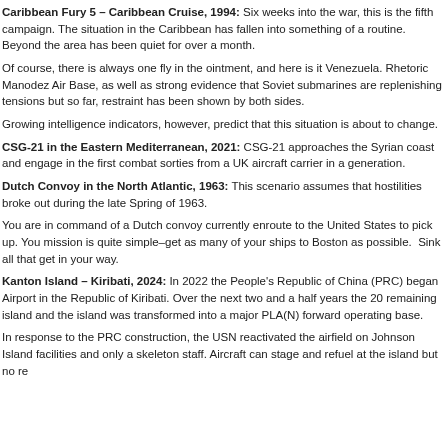Caribbean Fury 5 – Caribbean Cruise, 1994: Six weeks into the war, this is the fifth campaign. The situation in the Caribbean has fallen into something of a routine. Beyond the area has been quiet for over a month.
Of course, there is always one fly in the ointment, and here is it Venezuela. Rhetoric Manodez Air Base, as well as strong evidence that Soviet submarines are replenishing tensions but so far, restraint has been shown by both sides.
Growing intelligence indicators, however, predict that this situation is about to change.
CSG-21 in the Eastern Mediterranean, 2021: CSG-21 approaches the Syrian coast and engage in the first combat sorties from a UK aircraft carrier in a generation.
Dutch Convoy in the North Atlantic, 1963: This scenario assumes that hostilities broke out during the late Spring of 1963.
You are in command of a Dutch convoy currently enroute to the United States to pick up. You mission is quite simple–get as many of your ships to Boston as possible. Sink all that get in your way.
Kanton Island – Kiribati, 2024: In 2022 the People's Republic of China (PRC) began Airport in the Republic of Kiribati. Over the next two and a half years the 20 remaining island and the island was transformed into a major PLA(N) forward operating base.
In response to the PRC construction, the USN reactivated the airfield on Johnson Island facilities and only a skeleton staff. Aircraft can stage and refuel at the island but no re